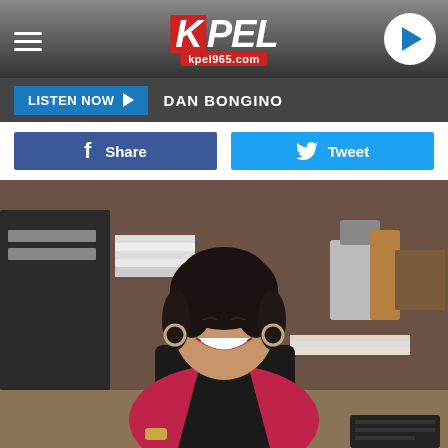KPEL kpel965.com
LISTEN NOW  DAN BONGINO
Share  Tweet
[Figure (photo): A woman with dark curly hair, wearing a magenta/red cardigan over a black top, laughing and smiling while seated at an office desk with papers, files, and office items visible in the background.]